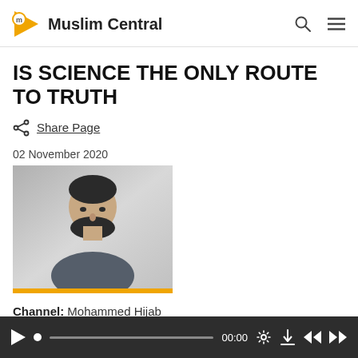Muslim Central
IS SCIENCE THE ONLY ROUTE TO TRUTH
Share Page
02 November 2020
[Figure (photo): Headshot photo of a man with a beard against a light grey background]
Channel: Mohammed Hijab
[Figure (other): Audio player bar with play button, progress bar showing 00:00, gear/settings icon, download icon, rewind icon, and fast-forward icon]